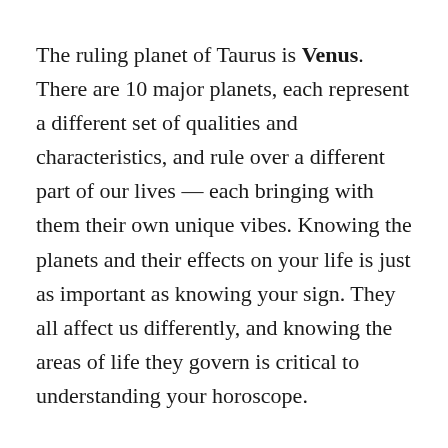The ruling planet of Taurus is Venus. There are 10 major planets, each represent a different set of qualities and characteristics, and rule over a different part of our lives — each bringing with them their own unique vibes. Knowing the planets and their effects on your life is just as important as knowing your sign. They all affect us differently, and knowing the areas of life they govern is critical to understanding your horoscope.
Venus governs your romantic relationships, who you attract, how you attract them, your social skills, how affectionate you are, what you